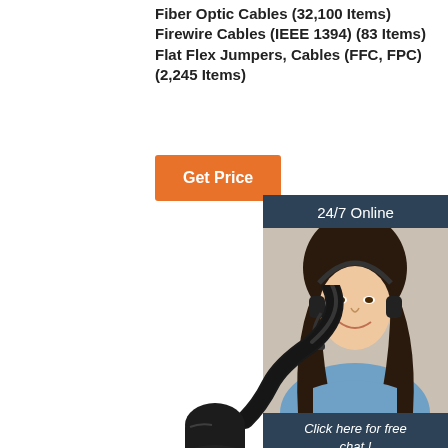Fiber Optic Cables (32,100 Items) Firewire Cables (IEEE 1394) (83 Items) Flat Flex Jumpers, Cables (FFC, FPC) (2,245 Items)
Get Price
24/7 Online
[Figure (photo): Customer service representative (woman with headset) on dark blue background]
Click here for free chat !
QUOTATION
[Figure (photo): Black power cable plug with three flat pins, Australian/Chinese style power connector]